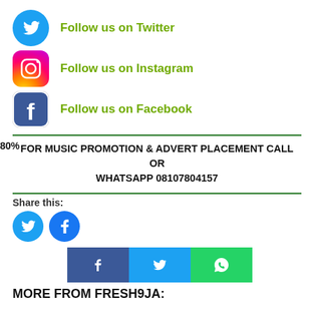Follow us on Twitter
Follow us on Instagram
Follow us on Facebook
FOR MUSIC PROMOTION & ADVERT PLACEMENT CALL OR WHATSAPP 08107804157
80%
Share this:
[Figure (infographic): Twitter and Facebook share circular icon buttons]
[Figure (infographic): Facebook, Twitter, WhatsApp share rectangular buttons]
MORE FROM FRESH9JA: